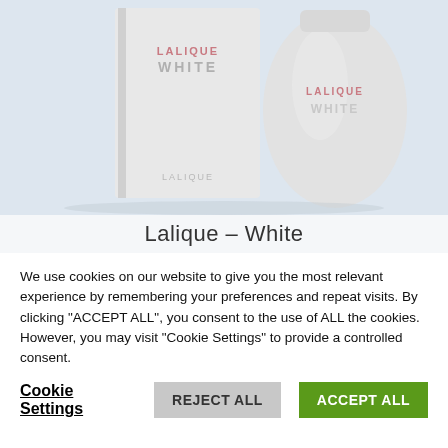[Figure (photo): Product photo of Lalique White perfume: a white rectangular box and a white bottle side by side on a light blue-grey background. Both show 'LALIQUE WHITE' text in pink/white lettering.]
Lalique – White
We use cookies on our website to give you the most relevant experience by remembering your preferences and repeat visits. By clicking “ACCEPT ALL”, you consent to the use of ALL the cookies. However, you may visit "Cookie Settings" to provide a controlled consent.
Cookie Settings
REJECT ALL
ACCEPT ALL